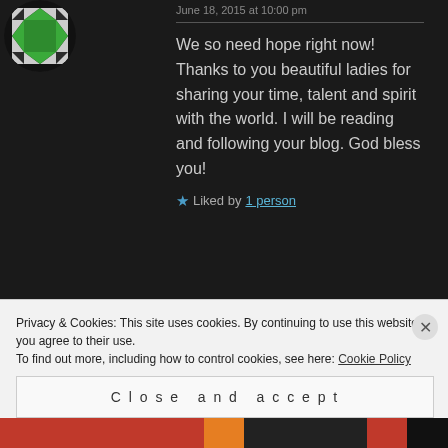June 18, 2015 at 10:00 pm
We so need hope right now! Thanks to you beautiful ladies for sharing your time, talent and spirit with the world. I will be reading and following your blog. God bless you!
Liked by 1 person
WOMENWHOHOPE says:
June 19, 2015 at 12:58 am
Privacy & Cookies: This site uses cookies. By continuing to use this website, you agree to their use.
To find out more, including how to control cookies, see here: Cookie Policy
Close and accept